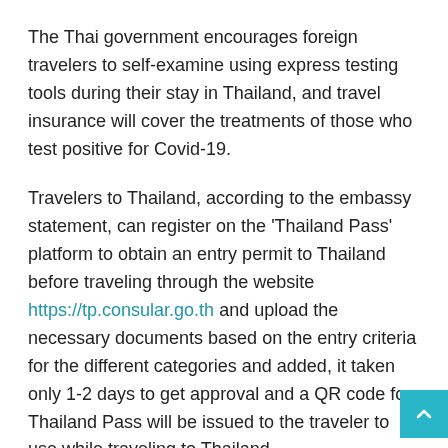The Thai government encourages foreign travelers to self-examine using express testing tools during their stay in Thailand, and travel insurance will cover the treatments of those who test positive for Covid-19.
Travelers to Thailand, according to the embassy statement, can register on the 'Thailand Pass' platform to obtain an entry permit to Thailand before traveling through the website https://tp.consular.go.th and upload the necessary documents based on the entry criteria for the different categories and added, it taken only 1-2 days to get approval and a QR code for Thailand Pass will be issued to the traveler to use while traveling to Thailand.
Thailand's ambassador to Kuwait, Roj Tamongkul, expressed his hope to attract more tourists to his country this year after the return to normal life and the opening of all